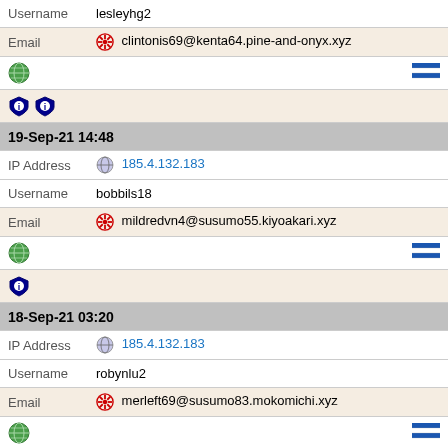Username  lesleyhg2
Email 🧫 clintonis69@kenta64.pine-and-onyx.xyz
[Figure (other): Globe icon left, Greek flag icon right]
[Figure (other): Two shield/tracker blocker icons]
19-Sep-21 14:48
IP Address  185.4.132.183
Username  bobbils18
Email 🧫 mildredvn4@susumo55.kiyoakari.xyz
[Figure (other): Globe icon left, Greek flag icon right]
[Figure (other): One shield/tracker blocker icon]
18-Sep-21 03:20
IP Address  185.4.132.183
Username  robynlu2
Email 🧫 merleft69@susumo83.mokomichi.xyz
[Figure (other): Globe icon left, Greek flag icon right]
[Figure (other): Two shield/tracker blocker icons]
16-Sep-21 16:12